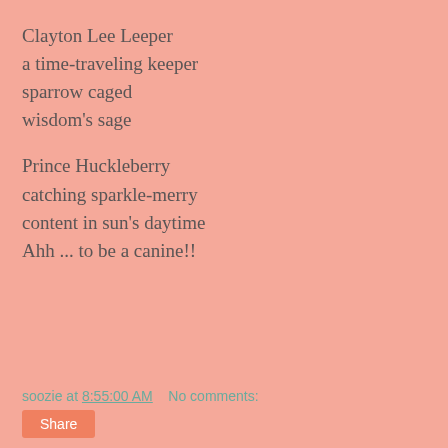Clayton Lee Leeper
a time-traveling keeper
sparrow caged
wisdom's sage

Prince Huckleberry
catching sparkle-merry
content in sun's daytime
Ahh ... to be a canine!!
soozie at 8:55:00 AM    No comments: